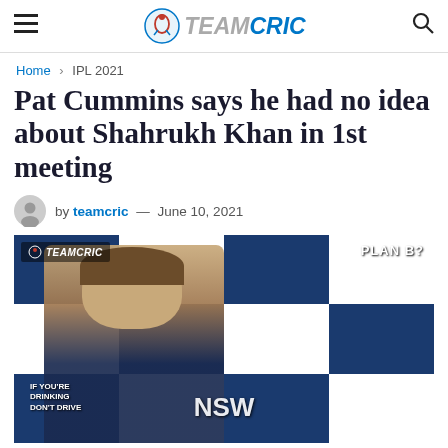TEAMCRIC
Home > IPL 2021
Pat Cummins says he had no idea about Shahrukh Khan in 1st meeting
by teamcric — June 10, 2021
[Figure (photo): Pat Cummins at a press conference with Cricket NSW branding in the background. TeamCric watermark logo in top left corner.]